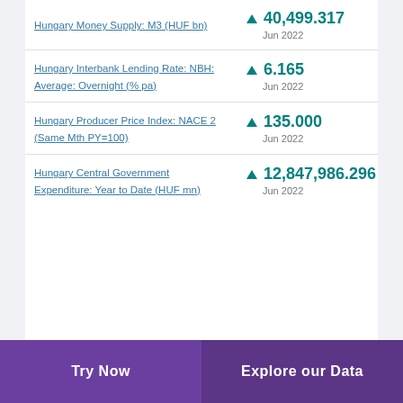Hungary Money Supply: M3 (HUF bn) ▲ 40,499.317 Jun 2022
Hungary Interbank Lending Rate: NBH: Average: Overnight (% pa) ▲ 6.165 Jun 2022
Hungary Producer Price Index: NACE 2 (Same Mth PY=100) ▲ 135.000 Jun 2022
Hungary Central Government Expenditure: Year to Date (HUF mn) ▲ 12,847,986.296 Jun 2022
Try Now | Explore our Data